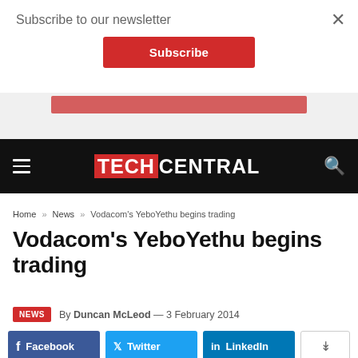Subscribe to our newsletter
Subscribe
[Figure (screenshot): Blurred red banner behind newsletter overlay]
TECHCENTRAL
Home » News » Vodacom's YeboYethu begins trading
Vodacom's YeboYethu begins trading
NEWS  By Duncan McLeod — 3 February 2014
Facebook  Twitter  LinkedIn